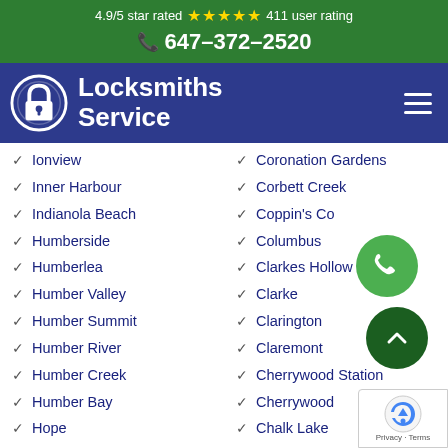4.9/5 star rated ★★★★★ 411 user rating
647-372-2520
[Figure (logo): Locksmiths Service logo with padlock icon on navy background with hamburger menu]
Ionview
Inner Harbour
Indianola Beach
Humberside
Humberlea
Humber Valley
Humber Summit
Humber River
Humber Creek
Humber Bay
Hope
Coronation Gardens
Corbett Creek
Coppin's Co...
Columbus
Clarkes Hollow
Clarke
Clarington
Claremont
Cherrywood Station
Cherrywood
Chalk Lake